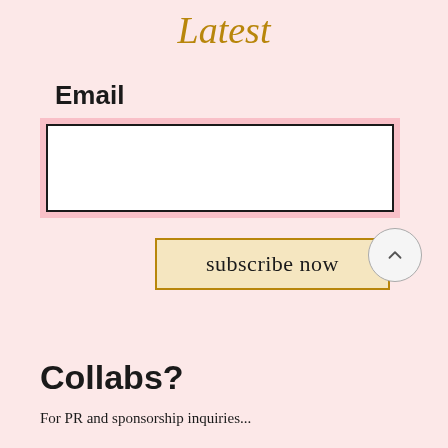Latest
Email
[Figure (other): Email input field with pink highlight border and white inner box]
subscribe now
Collabs?
For PR and sponsorship inquiries...